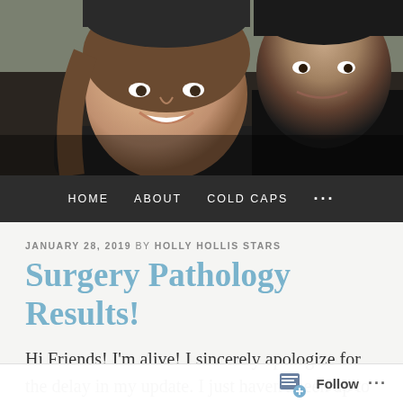[Figure (photo): A smiling woman wearing a dark beanie hat and a man in dark clothing, appearing to be a selfie-style photo, cropped to show their faces and upper bodies.]
HOME   ABOUT   COLD CAPS   ...
JANUARY 28, 2019 BY HOLLY HOLLIS STARS
Surgery Pathology Results!
Hi Friends! I'm alive! I sincerely apologize for the delay in my update. I just haven't been up to